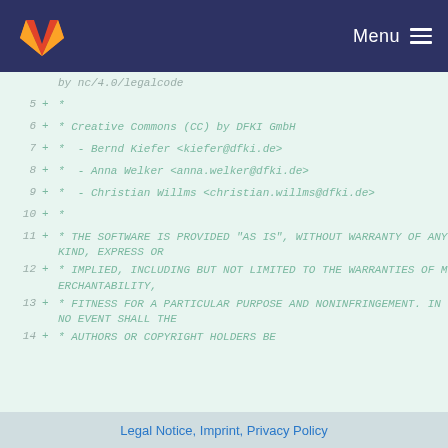GitLab Menu
[Figure (screenshot): Code diff view showing lines 5-14 of a source file with added lines (+) in green, showing Creative Commons license attribution and warranty disclaimer text]
Legal Notice, Imprint, Privacy Policy